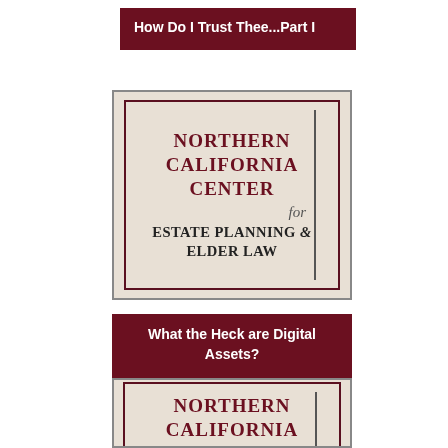How Do I Trust Thee...Part I
[Figure (logo): Northern California Center for Estate Planning & Elder Law logo — beige stone-textured square with serif text and vertical line accent]
What the Heck are Digital Assets?
[Figure (logo): Northern California Center logo (partial/cropped), same design as above]